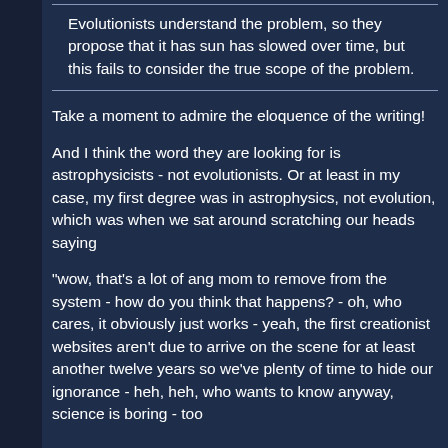Evolutionists understand the problem, so they propose that it has sun has slowed over time, but this fails to consider the true scope of the problem.
Take a moment to admire the eloquence of the writing!
And I think the word they are looking for is astrophysicists - not evolutionists. Or at least in my case, my first degree was in astrophysics, not evolution, which was when we sat around scratching our heads saying
"wow, that's a lot of ang mom to remove from the system - how do you think that happens? - oh, who cares, it obviously just works - yeah, the first creationist websites aren't due to arrive on the scene for at least another twelve years so we've plenty of time to hide our ignorance - heh, heh, who wants to know anyway, science is boring - too